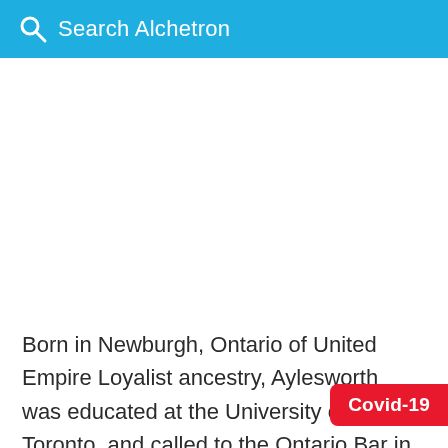Search Alchetron
Born in Newburgh, Ontario of United Empire Loyalist ancestry, Aylesworth was educated at the University of Toronto, and called to the Ontario Bar in 1878. As the Canadian member of the Alaska Boundary Tribunal in 1903, he presented the country's views in a minority report. Elected to the
Covid-19